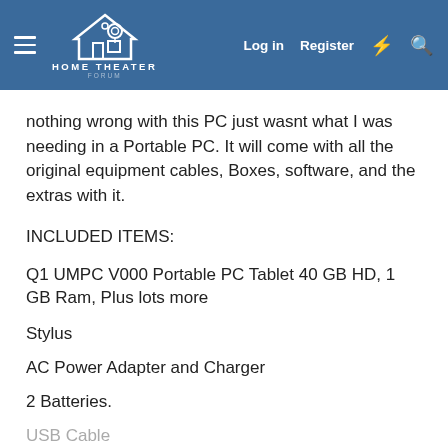HOME THEATER FORUM
nothing wrong with this PC just wasnt what I was needing in a Portable PC. It will come with all the original equipment cables, Boxes, software, and the extras with it.
INCLUDED ITEMS:
Q1 UMPC V000 Portable PC Tablet 40 GB HD, 1 GB Ram, Plus lots more
Stylus
AC Power Adapter and Charger
2 Batteries.
USB Cable
3 Backup CD's with windows XP tablet version 2005 with